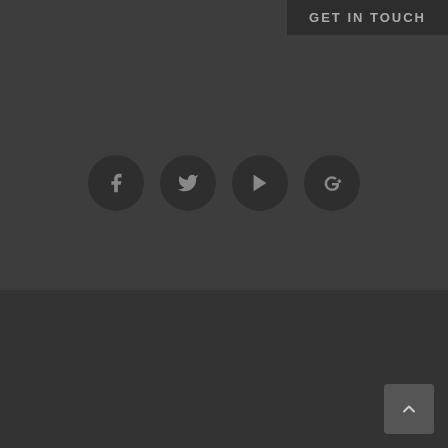GET IN TOUCH
[Figure (other): Social media icons: Facebook, Twitter, YouTube, Google+]
Copyright 2012 Avada | All Rights Reserved | Powered by WordPress | Theme Fusion